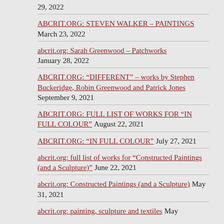29, 2022
ABCRIT.ORG: STEVEN WALKER – PAINTINGS March 23, 2022
abcrit.org: Sarah Greenwood – Patchworks January 28, 2022
ABCRIT.ORG: “DIFFERENT” – works by Stephen Buckeridge, Robin Greenwood and Patrick Jones September 9, 2021
ABCRIT.ORG: FULL LIST OF WORKS FOR “IN FULL COLOUR” August 22, 2021
ABCRIT.ORG: “IN FULL COLOUR” July 27, 2021
abcrit.org: full list of works for “Constructed Paintings (and a Sculpture)” June 22, 2021
abcrit.org: Constructed Paintings (and a Sculpture) May 31, 2021
abcrit.org: painting, sculpture and textiles May